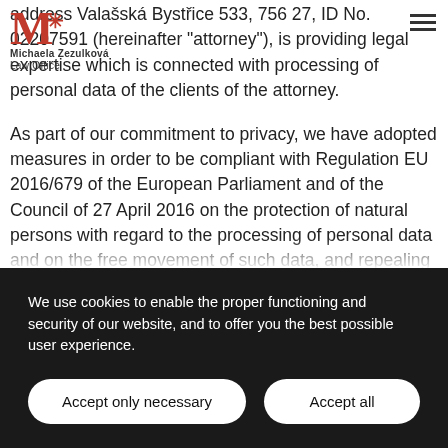[Figure (logo): M* logo with asterisk, red serif M, Michaela Zezulková Law Office text]
address Valašská Bystřice 533, 756 27, ID No. 02207591 (hereinafter "attorney"), is providing legal expertise which is connected with processing of personal data of the clients of the attorney.
As part of our commitment to privacy, we have adopted measures in order to be compliant with Regulation EU 2016/679 of the European Parliament and of the Council of 27 April 2016 on the protection of natural persons with regard to the processing of personal data and on the free movement of such data, and repealing Directive 95/46/EC (General Data Protection Regulation) (hereinafter the "GDPR"), as well
We use cookies to enable the proper functioning and security of our website, and to offer you the best possible user experience.